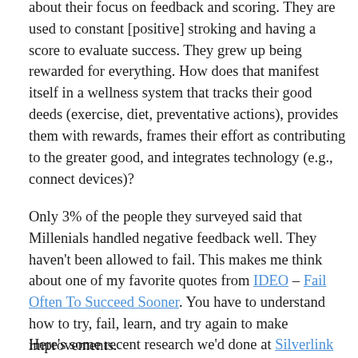about their focus on feedback and scoring. They are used to constant [positive] stroking and having a score to evaluate success. They grew up being rewarded for everything. How does that manifest itself in a wellness system that tracks their good deeds (exercise, diet, preventative actions), provides them with rewards, frames their effort as contributing to the greater good, and integrates technology (e.g., connect devices)?
Only 3% of the people they surveyed said that Millenials handled negative feedback well. They haven't been allowed to fail. This makes me think about one of my favorite quotes from IDEO – Fail Often To Succeed Sooner. You have to understand how to try, fail, learn, and try again to make improvements.
Here's some recent research we'd done at Silverlink on